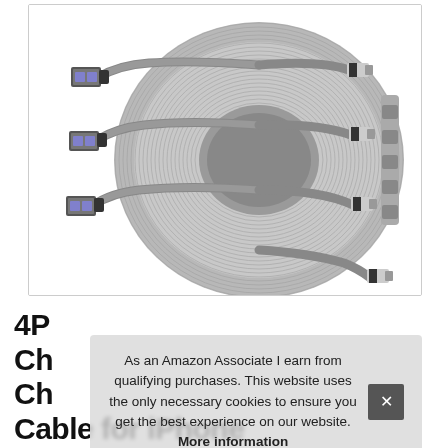[Figure (photo): Product photo showing three grey braided USB-A to Lightning cables coiled together, with USB-A connectors on the left and Lightning connectors on the right, arranged in a neat cylindrical coil bundle.]
4P
Ch
Ch
Cable for iPhone
As an Amazon Associate I earn from qualifying purchases. This website uses the only necessary cookies to ensure you get the best experience on our website. More information